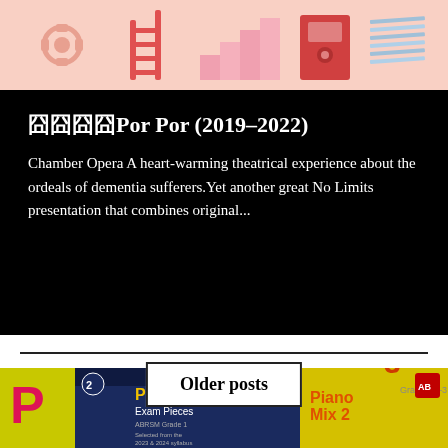[Figure (illustration): Colorful isometric illustration with pink background showing gears, ladders, stairs, and stacked books/sheets on a light pink background]
囧囧囧囧Por Por (2019-2022)
Chamber Opera A heart-warming theatrical experience about the ordeals of dementia sufferers.Yet another great No Limits presentation that combines original...
Older posts
[Figure (photo): Photo of ABRSM Piano Exam Pieces book (Grade 1, 2023 & 2024 syllabus) and Piano Mix 2 book (Grades 2-3) on a wooden surface]